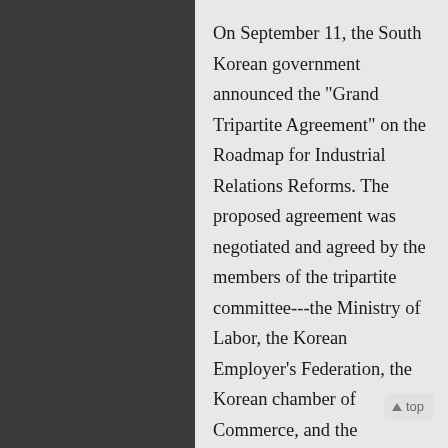On September 11, the South Korean government announced the "Grand Tripartite Agreement" on the Roadmap for Industrial Relations Reforms. The proposed agreement was negotiated and agreed by the members of the tripartite committee---the Ministry of Labor, the Korean Employer's Federation, the Korean chamber of Commerce, and the Federation of Korean Trade Unions (FKTU). However, one of the tripartite members, the Koran Confederation of Trade Unions (KCTU) representing